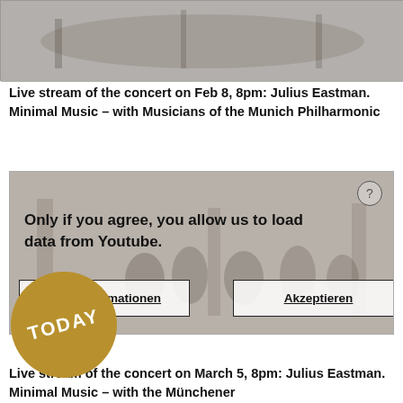[Figure (screenshot): Blurred concert image showing musicians on stage, top portion of page]
Live stream of the concert on Feb 8, 8pm: Julius Eastman. Minimal Music – with Musicians of the Munich Philharmonic
[Figure (screenshot): YouTube embed placeholder with consent overlay showing question mark, text 'Only if you agree, you allow us to load data from Youtube.' and two buttons: Mehr Informationen and Akzeptieren. Background shows blurred concert musicians.]
[Figure (other): TODAY circular badge in gold/brown color]
Live stream of the concert on March 5, 8pm: Julius Eastman. Minimal Music – with the Münchener